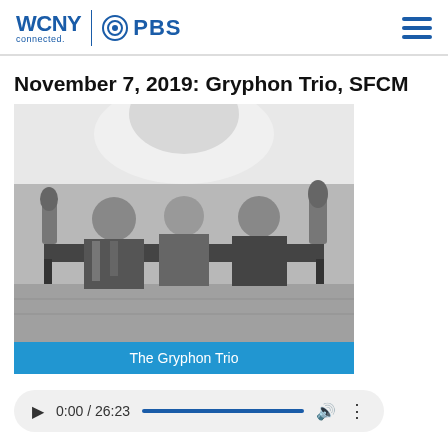WCNY connected. PBS
November 7, 2019: Gryphon Trio, SFCM
[Figure (photo): Black and white photo of three musicians seated on a bench in a room, captioned 'The Gryphon Trio']
The Gryphon Trio
0:00 / 26:23